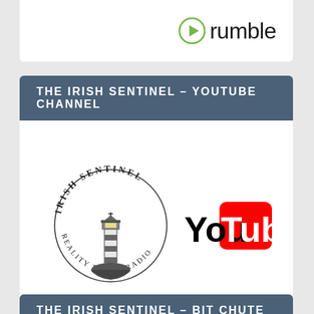[Figure (logo): Rumble logo with green play button icon and 'rumble' text]
THE IRISH SENTINEL – YOUTUBE CHANNEL
[Figure (logo): Irish Sentinel Reality Bytes Radio circular logo with lighthouse, alongside YouTube logo]
THE IRISH SENTINEL – BIT CHUTE